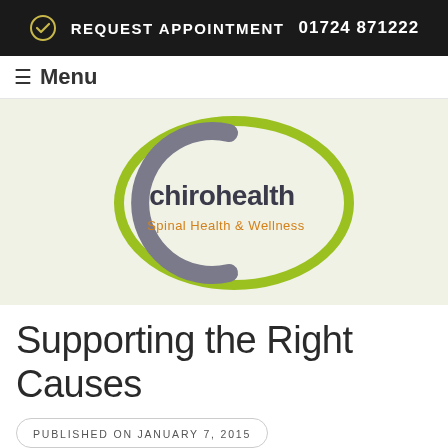REQUEST APPOINTMENT  01724 871222
≡ Menu
[Figure (logo): Chirohealth Spinal Health & Wellness logo — green ellipse outline with a grey C-shaped arc, text 'chirohealth' in dark grey and 'Spinal Health & Wellness' in orange, on a light green background]
Supporting the Right Causes
PUBLISHED ON JANUARY 7, 2015